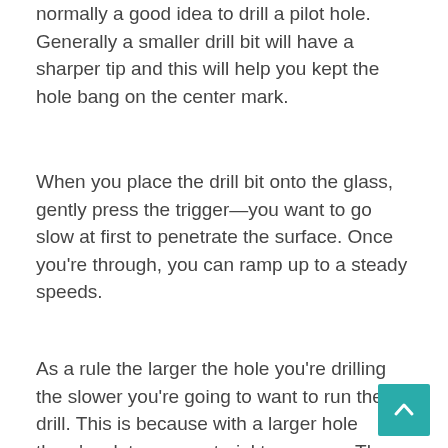normally a good idea to drill a pilot hole. Generally a smaller drill bit will have a sharper tip and this will help you kept the hole bang on the center mark.
When you place the drill bit onto the glass, gently press the trigger—you want to go slow at first to penetrate the surface. Once you're through, you can ramp up to a steady speeds.
As a rule the larger the hole you're drilling the slower you're going to want to run the drill. This is because with a larger hole there's a lot more material to remove. The